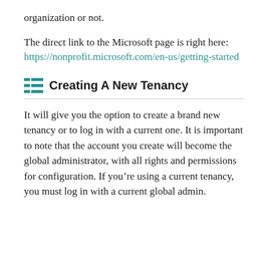organization or not.
The direct link to the Microsoft page is right here: https://nonprofit.microsoft.com/en-us/getting-started
Creating A New Tenancy
It will give you the option to create a brand new tenancy or to log in with a current one. It is important to note that the account you create will become the global administrator, with all rights and permissions for configuration. If you’re using a current tenancy, you must log in with a current global admin.